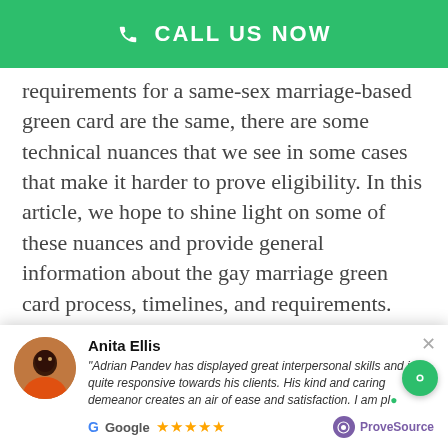CALL US NOW
requirements for a same-sex marriage-based green card are the same, there are some technical nuances that we see in some cases that make it harder to prove eligibility. In this article, we hope to shine light on some of these nuances and provide general information about the gay marriage green card process, timelines, and requirements. With numerous family members, friends, and clients in same-sex relationships, our office prides itself on its long-term track record of successfully
Anita Ellis
"Adrian Pandev has displayed great interpersonal skills and is quite responsive towards his clients. His kind and caring demeanor creates an air of ease and satisfaction. I am pl…
Google ★★★★★ ProveSource